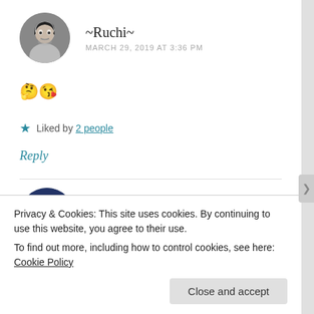~Ruchi~
MARCH 29, 2019 AT 3:36 PM
🤔😘
★ Liked by 2 people
Reply
monalisaa1
Privacy & Cookies: This site uses cookies. By continuing to use this website, you agree to their use.
To find out more, including how to control cookies, see here: Cookie Policy
Close and accept